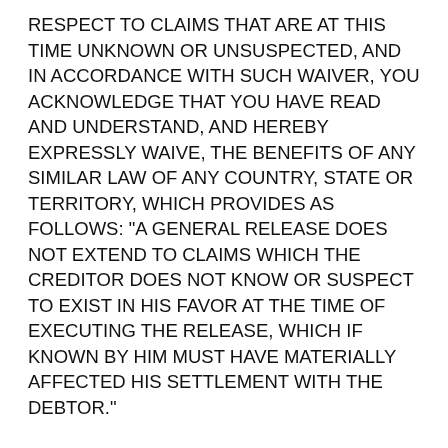RESPECT TO CLAIMS THAT ARE AT THIS TIME UNKNOWN OR UNSUSPECTED, AND IN ACCORDANCE WITH SUCH WAIVER, YOU ACKNOWLEDGE THAT YOU HAVE READ AND UNDERSTAND, AND HEREBY EXPRESSLY WAIVE, THE BENEFITS OF ANY SIMILAR LAW OF ANY COUNTRY, STATE OR TERRITORY, WHICH PROVIDES AS FOLLOWS: "A GENERAL RELEASE DOES NOT EXTEND TO CLAIMS WHICH THE CREDITOR DOES NOT KNOW OR SUSPECT TO EXIST IN HIS FAVOR AT THE TIME OF EXECUTING THE RELEASE, WHICH IF KNOWN BY HIM MUST HAVE MATERIALLY AFFECTED HIS SETTLEMENT WITH THE DEBTOR."
We do not endorse, warrant or guarantee any products or services offered on any third party